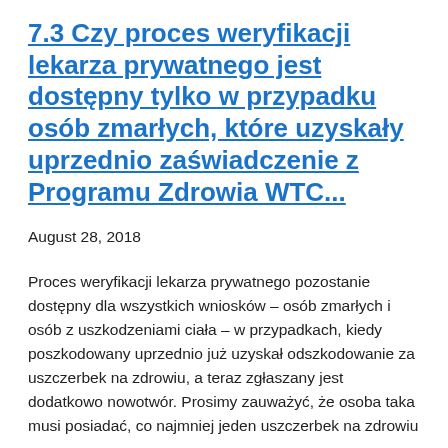7.3 Czy proces weryfikacji lekarza prywatnego jest dostępny tylko w przypadku osób zmarłych, które uzyskały uprzednio zaświadczenie z Programu Zdrowia WTC...
August 28, 2018
Proces weryfikacji lekarza prywatnego pozostanie dostępny dla wszystkich wniosków – osób zmarłych i osób z uszkodzeniami ciała – w przypadkach, kiedy poszkodowany uprzednio już uzyskał odszkodowanie za uszczerbek na zdrowiu, a teraz zgłaszany jest dodatkowo nowotwór. Prosimy zauważyć, że osoba taka musi posiadać, co najmniej jeden uszczerbek na zdrowiu